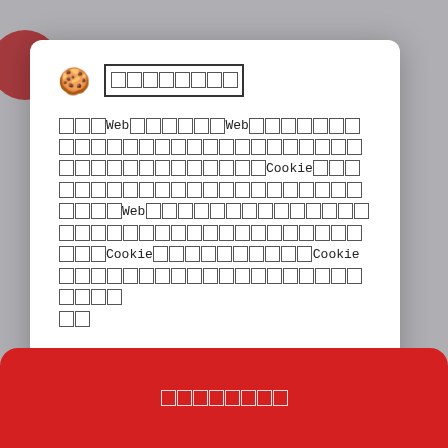[Figure (screenshot): Cookie consent modal dialog overlay on a webpage. The modal has a cookie icon, a title in placeholder characters, body text in placeholder characters mentioning 'Web' and 'Cookie', a purple accept button, and a purple text reject/decline link. Behind the modal, partially visible background text about 'Winners of this award will have inspired countless prospects, completed many sales and deployed numerous Sitecore products - meeting the'. At the bottom is a red rounded bar with placeholder characters.]